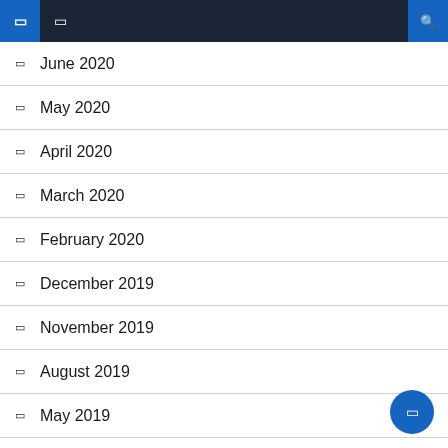Navigation header with menu icons
June 2020
May 2020
April 2020
March 2020
February 2020
December 2019
November 2019
August 2019
May 2019
April 2019